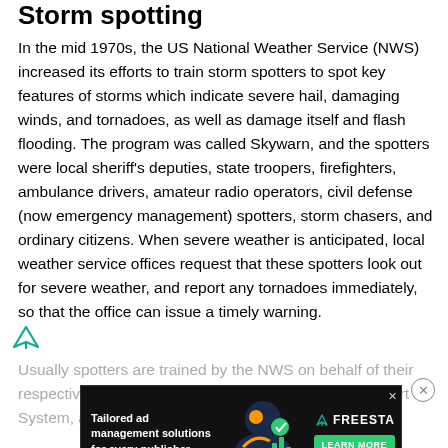Storm spotting
In the mid 1970s, the US National Weather Service (NWS) increased its efforts to train storm spotters to spot key features of storms which indicate severe hail, damaging winds, and tornadoes, as well as damage itself and flash flooding. The program was called Skywarn, and the spotters were local sheriff's deputies, state troopers, firefighters, ambulance drivers, amateur radio operators, civil defense (now emergency management) spotters, storm chasers, and ordinary citizens. When severe weather is anticipated, local weather service offices request that these spotters look out for severe weather, and report any tornadoes immediately, so that the office can issue a timely warning.
Usually spotters are trained by the NWS on behalf of their respec... organiz... sirens and the Emergency Alert System, and forward the
[Figure (other): Advertisement banner: 'Tailored ad management solutions for every publisher' with FREESTA logo and LEARN MORE button on dark background]